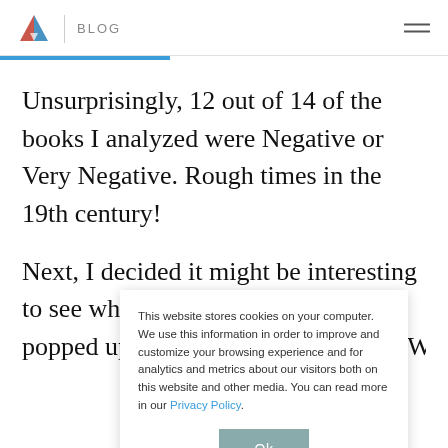BLOG
Unsurprisingly, 12 out of 14 of the books I analyzed were Negative or Very Negative. Rough times in the 19th century!
Next, I decided it might be interesting to see what popped up with Profanity Detection. While getting the
This website stores cookies on your computer. We use this information in order to improve and customize your browsing experience and for analytics and metrics about our visitors both on this website and other media. You can read more in our Privacy Policy.